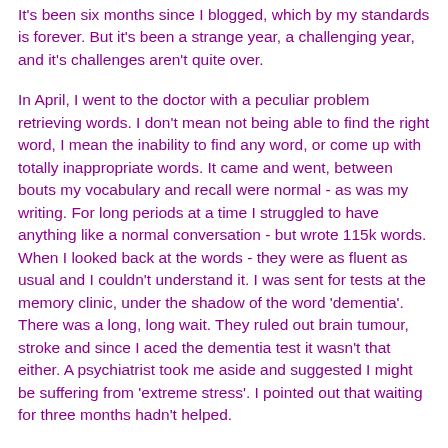It's been six months since I blogged, which by my standards is forever. But it's been a strange year, a challenging year, and it's challenges aren't quite over.
In April, I went to the doctor with a peculiar problem retrieving words. I don't mean not being able to find the right word, I mean the inability to find any word, or come up with totally inappropriate words. It came and went, between bouts my vocabulary and recall were normal - as was my writing. For long periods at a time I struggled to have anything like a normal conversation - but wrote 115k words. When I looked back at the words - they were as fluent as usual and I couldn't understand it. I was sent for tests at the memory clinic, under the shadow of the word 'dementia'. There was a long, long wait. They ruled out brain tumour, stroke and since I aced the dementia test it wasn't that either. A psychiatrist took me aside and suggested I might be suffering from 'extreme stress'. I pointed out that waiting for three months hadn't helped.
It's funny how you can see other people's strengths and weaknesses and not your own. It's amazing how we reach out to help, forgive and understand people we can see are...